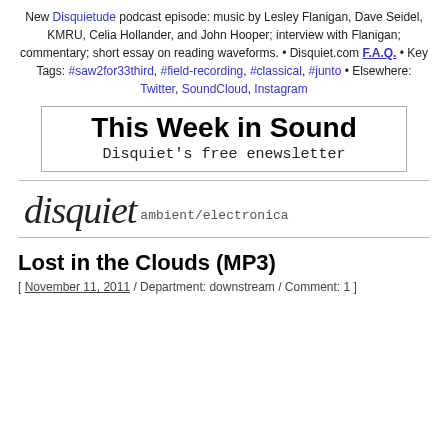New Disquietude podcast episode: music by Lesley Flanigan, Dave Seidel, KMRU, Celia Hollander, and John Hooper; interview with Flanigan; commentary; short essay on reading waveforms. • Disquiet.com F.A.Q. • Key Tags: #saw2for33third, #field-recording, #classical, #junto • Elsewhere: Twitter, SoundCloud, Instagram
[Figure (other): Banner advertisement for 'This Week in Sound - Disquiet's free enewsletter' with bold black text on white background with border]
[Figure (logo): Disquiet logo in italic script font with 'ambient/electronica' subtitle in monospace]
Lost in the Clouds (MP3)
[ November 11, 2011 / Department: downstream / Comment: 1 ]